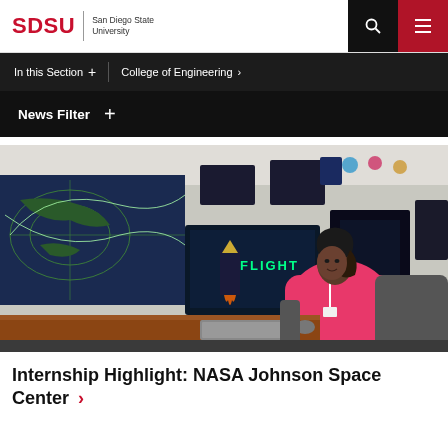SDSU | San Diego State University
In this Section +  |  College of Engineering >
News Filter +
[Figure (photo): A student in a pink shirt sitting at a workstation in a NASA control room environment, with multiple monitors displaying 'FLIGHT' text and a world map tracking screen in the background.]
Internship Highlight: NASA Johnson Space Center →